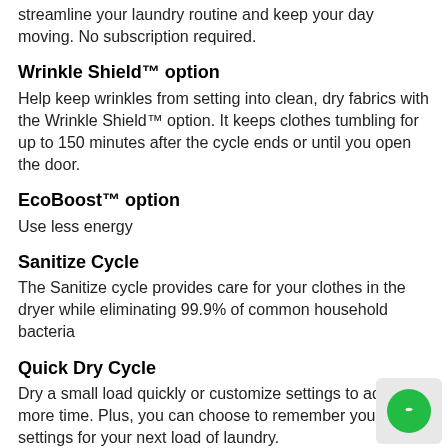streamline your laundry routine and keep your day moving. No subscription required.
Wrinkle Shield™ option
Help keep wrinkles from setting into clean, dry fabrics with the Wrinkle Shield™ option. It keeps clothes tumbling for up to 150 minutes after the cycle ends or until you open the door.
EcoBoost™ option
Use less energy
Sanitize Cycle
The Sanitize cycle provides care for your clothes in the dryer while eliminating 99.9% of common household bacteria
Quick Dry Cycle
Dry a small load quickly or customize settings to add more time. Plus, you can choose to remember your settings for your next load of laundry.
7.4 cu. ft. capacity
With a 7.4 cu. ft. capacity dryer drum, there s plenty of